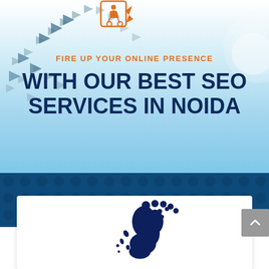[Figure (illustration): Top hero section with light blue sky gradient background, decorative birds (dark triangular arrow shapes) flying in upper left, a logo/icon in orange at top center, a large circle watermark on the right, tagline 'FIRE UP YOUR ONLINE PRESENCE' in orange, main headline 'WITH OUR BEST SEO SERVICES IN NOIDA' in dark navy bold uppercase text]
FIRE UP YOUR ONLINE PRESENCE
WITH OUR BEST SEO SERVICES IN NOIDA
[Figure (illustration): Dark blue section with dot/circle pattern background, a white card below containing a dark navy footprint/boot icon in the bottom portion, and a grey scroll-to-top button on the right]